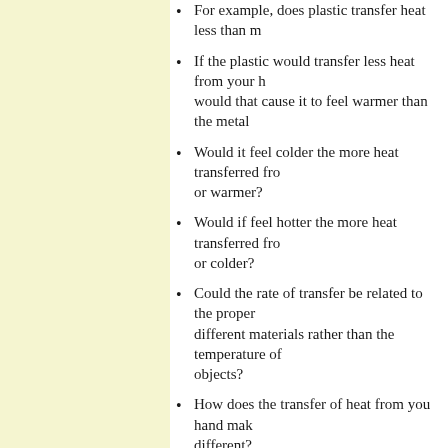For example, does plastic transfer heat less than [metal]?
If the plastic would transfer less heat from your hand, would that cause it to feel warmer than the metal?
Would it feel colder the more heat transferred from it, or warmer?
Would if feel hotter the more heat transferred from it, or colder?
Could the rate of transfer be related to the properties of different materials rather than the temperature of the objects?
How does the transfer of heat from you hand make [objects] different?
Create a model to explain why the observations - both the sensations and the observations of the thermometer [readings].
Model diagram: